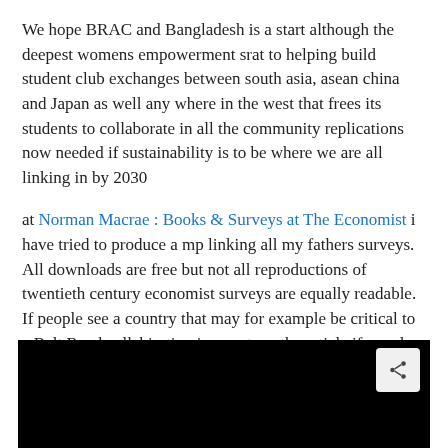We hope BRAC and Bangladesh is a start although the deepest womens empowerment srat to helping build student club exchanges between south asia, asean china and Japan as well any where in the west that frees its students to collaborate in all the community replications now needed if sustainability is to be where we are all linking in by 2030
at Norman Macrae : Books & Surveys at The Economist i have tried to produce a mp linking all my fathers surveys. All downloads are free but not all reproductions of twentieth century economist surveys are equally readable. If people see a country that may for example be critical to a Belt Road collabiration i can retype the article if people need it
[Figure (other): Black video embed area with a share button in the top-right corner]